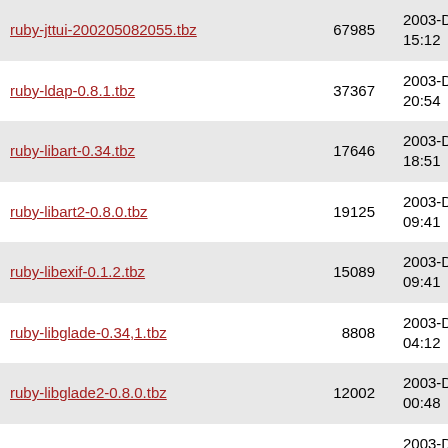| Filename | Size | Date |
| --- | --- | --- |
| ruby-jttui-200205082055.tbz | 67985 | 2003-Dec-13 15:12 |
| ruby-ldap-0.8.1.tbz | 37367 | 2003-Dec-13 20:54 |
| ruby-libart-0.34.tbz | 17646 | 2003-Dec-13 18:51 |
| ruby-libart2-0.8.0.tbz | 19125 | 2003-Dec-16 09:41 |
| ruby-libexif-0.1.2.tbz | 15089 | 2003-Dec-16 09:41 |
| ruby-libglade-0.34,1.tbz | 8808 | 2003-Dec-24 04:12 |
| ruby-libglade2-0.8.0.tbz | 12002 | 2003-Dec-23 00:48 |
| ruby-libgtop-0.1.0_1.tbz | 16210 | 2003-Dec-20 21:40 |
| ruby-libpng-0.3.3_3.tbz | 95302 | 2003-Dec-13 15:18 |
| ruby-libxml-0.3.2.tbz | 82150 | 2003-Dec-16 11:08 |
| ruby-libxslt-0.3.0_1.tbz | 41051 | 2003-Dec-16 17:11 |